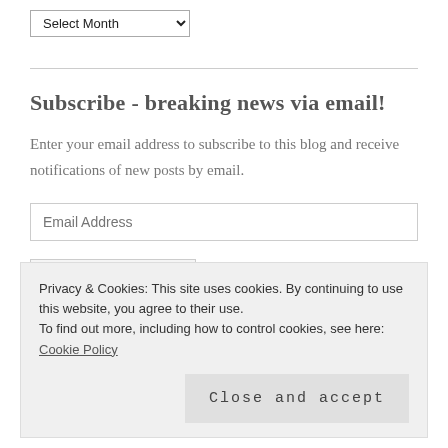[Figure (screenshot): A dropdown selector labeled 'Select Month' with a down arrow]
Subscribe - breaking news via email!
Enter your email address to subscribe to this blog and receive notifications of new posts by email.
[Figure (screenshot): Email Address input field placeholder]
[Figure (screenshot): SIGN ME UP! button]
Privacy & Cookies: This site uses cookies. By continuing to use this website, you agree to their use.
To find out more, including how to control cookies, see here: Cookie Policy
Close and accept